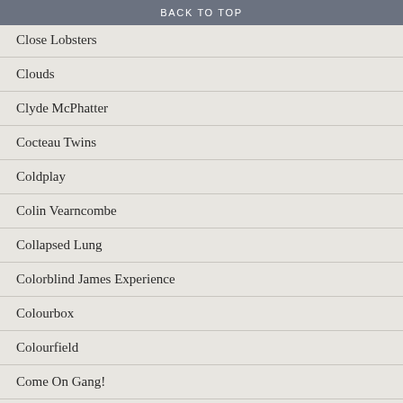BACK TO TOP
Close Lobsters
Clouds
Clyde McPhatter
Cocteau Twins
Coldplay
Colin Vearncombe
Collapsed Lung
Colorblind James Experience
Colourbox
Colourfield
Come On Gang!
Communards
Communions